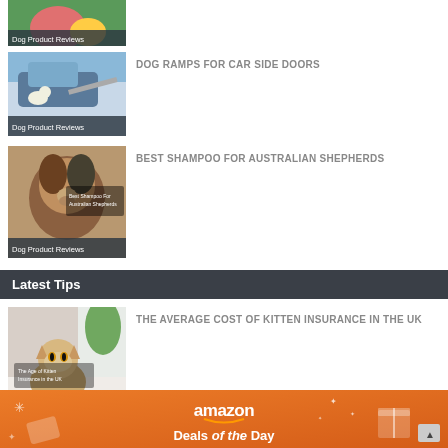[Figure (photo): Partial dog product image with Dog Product Reviews label at top of page]
[Figure (photo): Small dog on a ramp next to a car door, labeled Dog Product Reviews]
DOG RAMPS FOR CAR SIDE DOORS
[Figure (photo): Australian Shepherd dog with shampoo bottle overlay, labeled Dog Product Reviews]
BEST SHAMPOO FOR AUSTRALIAN SHEPHERDS
Latest Tips
[Figure (photo): Cat sitting on a table, labeled Cat Care Tips]
THE AVERAGE COST OF KITTEN INSURANCE IN THE UK
[Figure (photo): Person with breeder guide text overlay, partially visible]
HOW TO PICK AN ETHICAL BREEDER
[Figure (other): Amazon Deals of the Day advertisement banner at bottom]